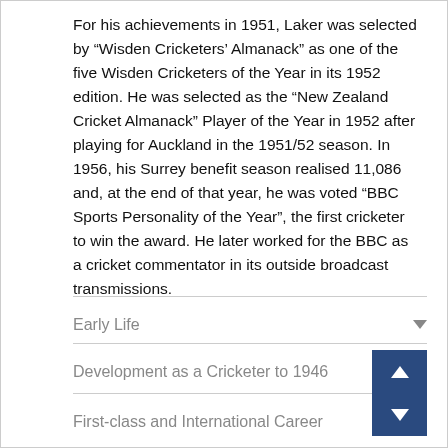For his achievements in 1951, Laker was selected by “Wisden Cricketers’ Almanack” as one of the five Wisden Cricketers of the Year in its 1952 edition. He was selected as the “New Zealand Cricket Almanack” Player of the Year in 1952 after playing for Auckland in the 1951/52 season. In 1956, his Surrey benefit season realised 11,086 and, at the end of that year, he was voted “BBC Sports Personality of the Year”, the first cricketer to win the award. He later worked for the BBC as a cricket commentator in its outside broadcast transmissions.
Early Life
Development as a Cricketer to 1946
First-class and International Career